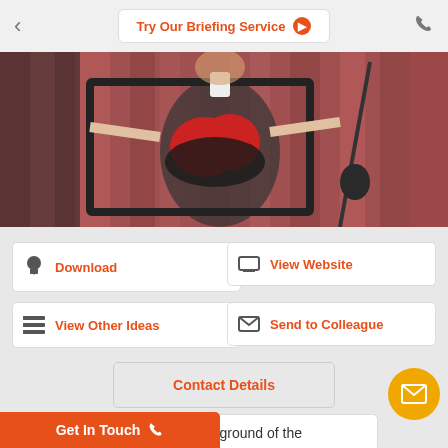Try Our Briefing Service
[Figure (photo): A performer on stage wearing a red and black costume, viewed through a rectangular frame prop, with a microphone stand visible on the right side.]
Download
View Website
View Other Ideas
Send to Colleague
Contact Details
What was the Challenge / Background of the
Get In Touch